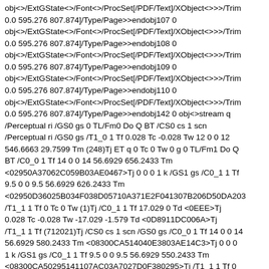obj<>/ExtGState<>/Font<>/ProcSet[/PDF/Text]/XObject<>>>/TrimBox[0.0 595.276 807.874]/Type/Page>>endobj107 0 obj<>/ExtGState<>/Font<>/ProcSet[/PDF/Text]/XObject<>>>/TrimBox[0.0 595.276 807.874]/Type/Page>>endobj108 0 obj<>/ExtGState<>/Font<>/ProcSet[/PDF/Text]/XObject<>>>/TrimBox[0.0 595.276 807.874]/Type/Page>>endobj109 0 obj<>/ExtGState<>/Font<>/ProcSet[/PDF/Text]/XObject<>>>/TrimBox[0.0 595.276 807.874]/Type/Page>>endobj110 0 obj<>/ExtGState<>/Font<>/ProcSet[/PDF/Text]/XObject<>>>/TrimBox[0.0 595.276 807.874]/Type/Page>>endobj142 0 obj<>stream q /Perceptual ri /GS0 gs 0 TL/Fm0 Do Q BT /CS0 cs 1 scn /Perceptual ri /GS0 gs /T1_0 1 Tf 0.028 Tc -0.028 Tw 12 0 0 12 546.6663 29.7599 Tm (248)Tj ET q 0 Tc 0 Tw 0 g 0 TL/Fm1 Do Q BT /C0_0 1 Tf 14 0 0 14 56.6929 656.2433 Tm <02950A37062C059B03AE0467>Tj 0 0 0 1 k /GS1 gs /C0_1 1 Tf 9.5 0 0 9.5 56.6929 626.2433 Tm <02950D36025B034F038D05710A371E2F041307B206D50DA203/T1_1 1 Tf 0 Tc 0 Tw (1)Tj /C0_1 1 Tf 17.029 0 Td <0EEE>Tj 0.028 Tc -0.028 Tw -17.029 -1.579 Td <0D8911DC006A>Tj /T1_1 1 Tf (712021)Tj /CS0 cs 1 scn /GS0 gs /C0_0 1 Tf 14 0 0 14 56.6929 580.2433 Tm <08300CA514040E3803AE14C3>Tj 0 0 0 1 k /GS1 gs /C0_1 1 Tf 9.5 0 0 9.5 56.6929 550.2433 Tm <08300CA50295141107AC03A7027D0F380295>Tj /T1_1 1 Tf 0 Tc 0 Tw (9)Tj /C0_1 1 Tf 9.834 0 Td <0EEE>Tj /T1_1 1 Tf 0.028 Tc -0.028 Tw 1.028 0 Td (19)Tj /C0_1 1 Tf 0 Tc 0 Tw <117D>Tj /T1_1 1 Tf 0.028 Tc -0.028 Tw 3.185 0 Td (1888)Tj /GS0 1 1 Tf 0